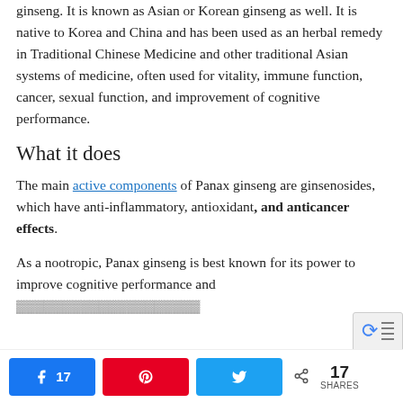ginseng. It is known as Asian or Korean ginseng as well. It is native to Korea and China and has been used as an herbal remedy in Traditional Chinese Medicine and other traditional Asian systems of medicine, often used for vitality, immune function, cancer, sexual function, and improvement of cognitive performance.
What it does
The main active components of Panax ginseng are ginsenosides, which have anti-inflammatory, antioxidant, and anticancer effects.
As a nootropic, Panax ginseng is best known for its power to improve cognitive performance and...